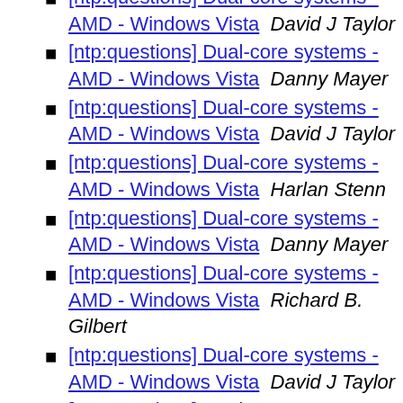[ntp:questions] Dual-core systems - AMD - Windows Vista  David J Taylor
[ntp:questions] Dual-core systems - AMD - Windows Vista  Danny Mayer
[ntp:questions] Dual-core systems - AMD - Windows Vista  David J Taylor
[ntp:questions] Dual-core systems - AMD - Windows Vista  Harlan Stenn
[ntp:questions] Dual-core systems - AMD - Windows Vista  Danny Mayer
[ntp:questions] Dual-core systems - AMD - Windows Vista  Richard B. Gilbert
[ntp:questions] Dual-core systems - AMD - Windows Vista  David J Taylor
[ntp:questions] Dual-core systems - AMD - Windows Vista  Richard B. Gilbert
[ntp:questions] Dual-core systems - AMD - Windows Vista  Danny Mayer
[ntp:questions] Dual-core systems - AMD - Windows Vista  Richard B. Gilbert
[ntp:questions] Dual-core systems - AMD - Windows Vista  Danny Mayer
[ntp:questions] Dual-core systems - AMD - Windows Vista  David J Taylor
[ntp:questions] Dual-core systems - AMD - Windows Vista  Danny Mayer